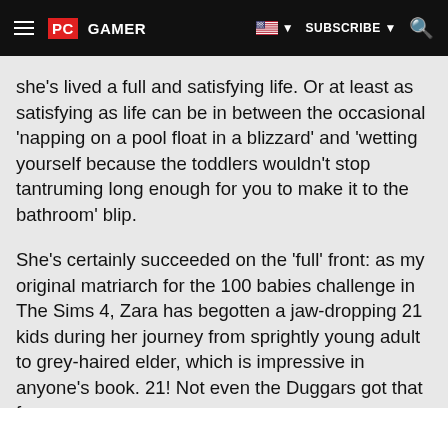PC GAMER — SUBSCRIBE
she's lived a full and satisfying life. Or at least as satisfying as life can be in between the occasional 'napping on a pool float in a blizzard' and 'wetting yourself because the toddlers wouldn't stop tantruming long enough for you to make it to the bathroom' blip.
She's certainly succeeded on the 'full' front: as my original matriarch for the 100 babies challenge in The Sims 4, Zara has begotten a jaw-dropping 21 kids during her journey from sprightly young adult to grey-haired elder, which is impressive in anyone's book. 21! Not even the Duggars got that far.
Sponsored Links